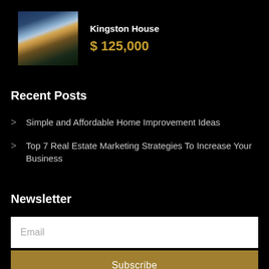[Figure (photo): Photo of Kingston House, a suburban home with garage]
Kingston House
$ 125,000
Recent Posts
Simple and Affordable Home Improvement Ideas
Top 7 Real Estate Marketing Strategies To Increase Your Business
Newsletter
Email
Subscribe